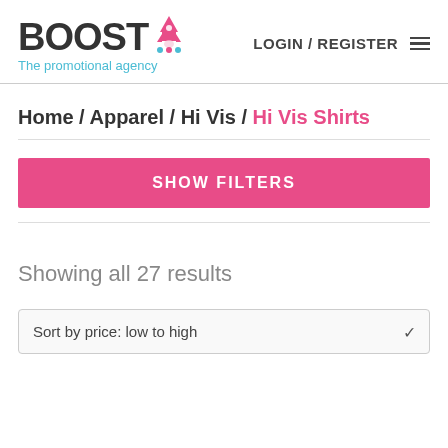BOOST The promotional agency | LOGIN / REGISTER
Home / Apparel / Hi Vis / Hi Vis Shirts
SHOW FILTERS
Showing all 27 results
Sort by price: low to high